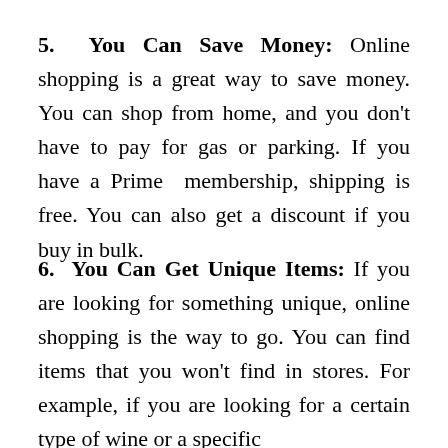5. You Can Save Money: Online shopping is a great way to save money. You can shop from home, and you don't have to pay for gas or parking. If you have a Prime membership, shipping is free. You can also get a discount if you buy in bulk.
6. You Can Get Unique Items: If you are looking for something unique, online shopping is the way to go. You can find items that you won't find in stores. For example, if you are looking for a certain type of wine or a specific